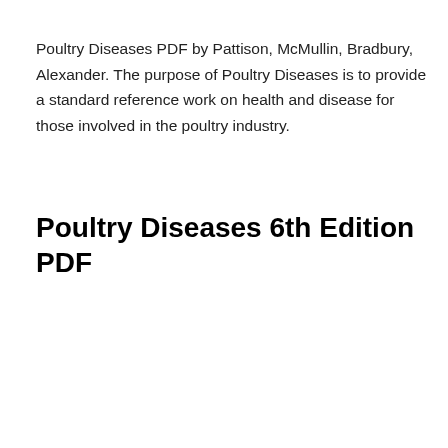Poultry Diseases PDF by Pattison, McMullin, Bradbury, Alexander. The purpose of Poultry Diseases is to provide a standard reference work on health and disease for those involved in the poultry industry.
Poultry Diseases 6th Edition PDF